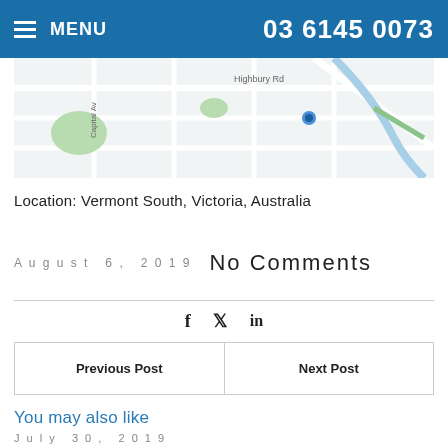MENU   03 6145 0073
[Figure (map): Street map showing Vermont South area with Highbury Rd, Capital Ave visible]
Location: Vermont South, Victoria, Australia
August 6, 2019   No Comments
f  y  in
| Previous Post | Next Post |
| --- | --- |
You may also like
July 30, 2019
Roman Blinds Edithvale
August 1, 2019